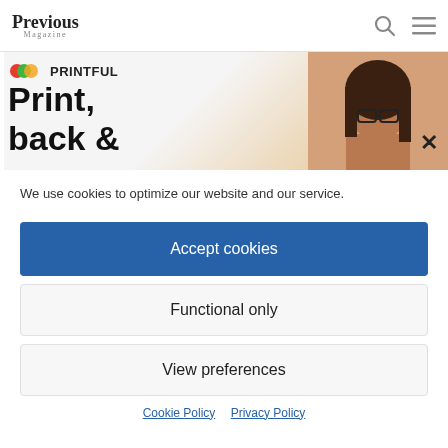Previous Magazine
[Figure (screenshot): Website banner with Recc and Printful logos, large text 'Print, back &' overlaid, and a woman with glasses on the right side]
5 Things You Need To Make a Successful Video Game
7 Tips for Being a Successful Architect Student
We use cookies to optimize our website and our service.
Accept cookies
Functional only
View preferences
Cookie Policy   Privacy Policy